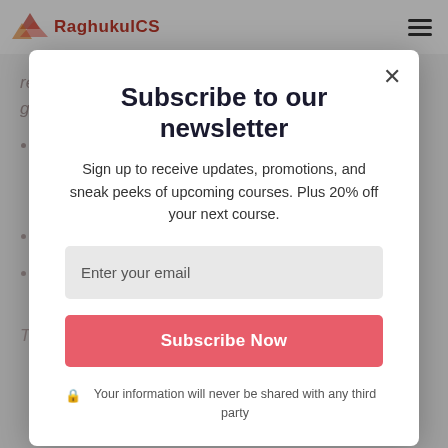RaghukulCS
registration from the central government or
They have taken prior permission from the government to accept foreign contributions.
Aadhaar usa...
trustees to register their Aadhaar card with the FCRA account
Subscribe to our newsletter
Sign up to receive updates, promotions, and sneak peeks of upcoming courses. Plus 20% off your next course.
Enter your email
Subscribe Now
Your information will never be shared with any third party